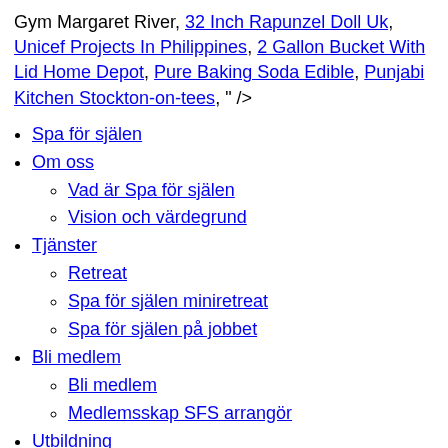Gym Margaret River, 32 Inch Rapunzel Doll Uk, Unicef Projects In Philippines, 2 Gallon Bucket With Lid Home Depot, Pure Baking Soda Edible, Punjabi Kitchen Stockton-on-tees, " />
Spa för själen
Om oss
Vad är Spa för själen
Vision och värdegrund
Tjänster
Retreat
Spa för själen miniretreat
Spa för själen på jobbet
Bli medlem
Bli medlem
Medlemsskap SFS arrangör
Utbildning
Utbildning och diplomering
Nätverket
Kontakt
Välj en sida
Sök …